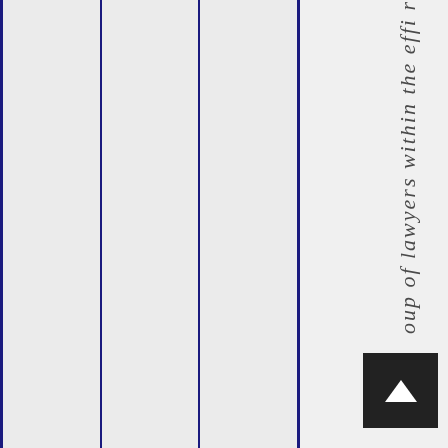[Figure (other): Three vertical columns with dark navy blue borders on a light gray background, representing table or document column layout.]
oup of lawyers within the effi r
[Figure (other): Navigation button with upward pointing arrow triangle, dark background, positioned at bottom right.]